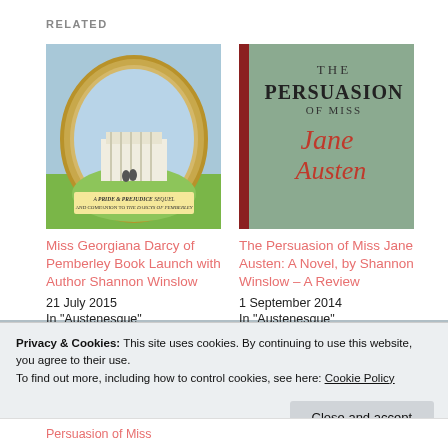RELATED
[Figure (illustration): Book cover: Miss Georgiana Darcy of Pemberley - A Pride & Prejudice sequel and companion to The Darcys of Pemberley, showing an oval gold frame with a manor house and couple on the lawn]
Miss Georgiana Darcy of Pemberley Book Launch with Author Shannon Winslow
21 July 2015
In "Austenesque"
[Figure (illustration): Book cover: The Persuasion of Miss Jane Austen - showing title on a teal/green background with Jane Austen's signature in red]
The Persuasion of Miss Jane Austen: A Novel, by Shannon Winslow – A Review
1 September 2014
In "Austenesque"
Privacy & Cookies: This site uses cookies. By continuing to use this website, you agree to their use.
To find out more, including how to control cookies, see here: Cookie Policy
Close and accept
Persuasion of Miss